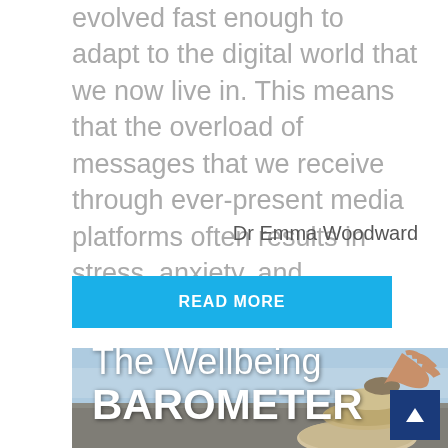evolved fast enough to adapt to the digital world that we now live in. This means that the overload of messages that we receive through ever-present media platforms often results in stress, anxiety, and overwhelm."
Dr Emma Woodward
READ MORE
[Figure (photo): A hand balancing stacked stones on a rocky beach with blurred water in the background. Text overlay reads 'The Wellbeing BAROMETER'. A dark blue scroll-to-top button is in the bottom-right corner.]